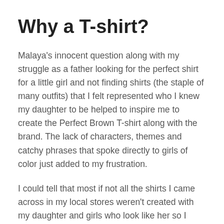Why a T-shirt?
Malaya's innocent question along with my struggle as a father looking for the perfect shirt for a little girl and not finding shirts (the staple of many outfits) that I felt represented who I knew my daughter to be helped to inspire me to create the Perfect Brown T-shirt along with the brand. The lack of characters, themes and catchy phrases that spoke directly to girls of color just added to my frustration.
I could tell that most if not all the shirts I came across in my local stores weren't created with my daughter and girls who look like her so I decided to create the Perfect Brown brand. We create apparel that not only speak to the beauty of melanated skin of girls and women but also celebrate